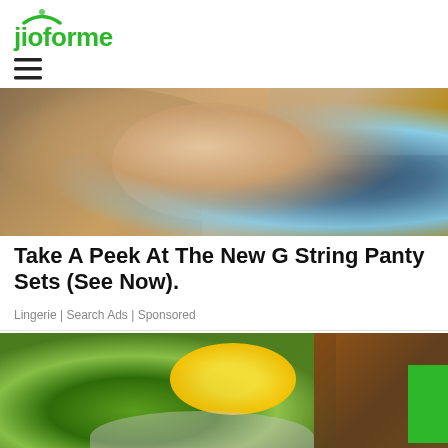jioforme
[Figure (illustration): Navigation hamburger menu icon with three horizontal lines]
[Figure (photo): Close-up photo of a woman with brown hair wearing a black top, with a light blue background]
Take A Peek At The New G String Panty Sets (See Now).
Lingerie | Search Ads | Sponsored
[Figure (photo): Photo of a healthy salad bowl with greens, lemon slices, and herbs on a wooden table, with a green button on the right side]
[Figure (illustration): Bottom social sharing bar with four colored sections: blue, light blue, green, dark blue]